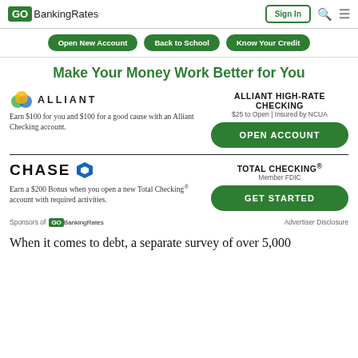GOBankingRates | Sign In
Open New Account
Back to School
Know Your Credit
Make Your Money Work Better for You
[Figure (logo): Alliant credit union logo with colored circles and ALLIANT text]
Earn $100 for you and $100 for a good cause with an Alliant Checking account.
ALLIANT HIGH-RATE CHECKING
$25 to Open | Insured by NCUA
OPEN ACCOUNT
[Figure (logo): Chase logo with blue octagon and CHASE text]
Earn a $200 Bonus when you open a new Total Checking® account with required activities.
TOTAL CHECKING®
Member FDIC
GET STARTED
Sponsors of GOBankingRates   Advertiser Disclosure
When it comes to debt, a separate survey of over 5,000